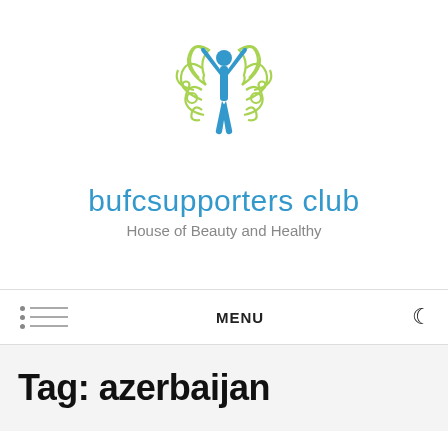[Figure (logo): bufcsupporters club logo with a blue human figure with arms raised and decorative green swirls around it]
bufcsupporters club
House of Beauty and Healthy
MENU
Tag: azerbaijan